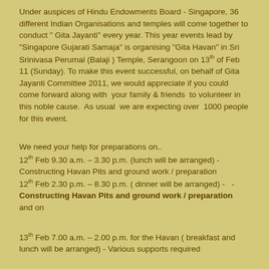Under auspices of Hindu Endowments Board - Singapore, 36 different Indian Organisations and temples will come together to conduct " Gita Jayanti" every year. This year events lead by "Singapore Gujarati Samaja" is organising "Gita Havan" in Sri Srinivasa Perumal (Balaji ) Temple, Serangoon on 13th of Feb 11 (Sunday). To make this event successful, on behalf of Gita Jayanti Committee 2011, we would appreciate if you could come forward along with  your family & friends  to volunteer in this noble cause.  As usual  we are expecting over  1000 people for this event.
We need your help for preparations on..
12th Feb 9.30 a.m. – 3.30 p.m. (lunch will be arranged) - Constructing Havan Pits and ground work / preparation
12th Feb 2.30 p.m. – 8.30 p.m. ( dinner will be arranged) -   - Constructing Havan Pits and ground work / preparation
and on
13th Feb 7.00 a.m. – 2.00 p.m. for the Havan ( breakfast and lunch will be arranged) - Various supports required